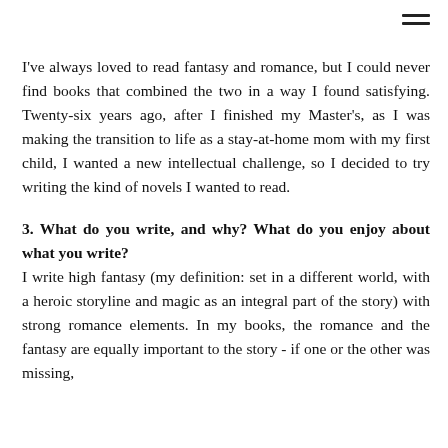≡
I've always loved to read fantasy and romance, but I could never find books that combined the two in a way I found satisfying. Twenty-six years ago, after I finished my Master's, as I was making the transition to life as a stay-at-home mom with my first child, I wanted a new intellectual challenge, so I decided to try writing the kind of novels I wanted to read.
3. What do you write, and why? What do you enjoy about what you write?
I write high fantasy (my definition: set in a different world, with a heroic storyline and magic as an integral part of the story) with strong romance elements. In my books, the romance and the fantasy are equally important to the story - if one or the other was missing,